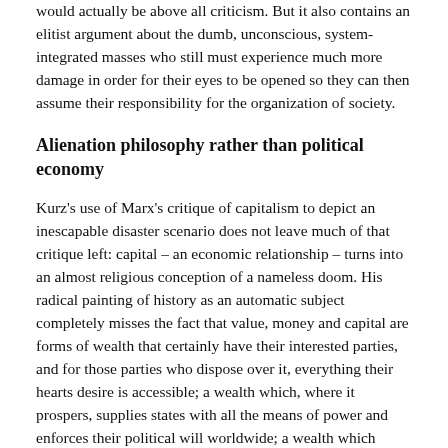would actually be above all criticism. But it also contains an elitist argument about the dumb, unconscious, system-integrated masses who still must experience much more damage in order for their eyes to be opened so they can then assume their responsibility for the organization of society.
Alienation philosophy rather than political economy
Kurz's use of Marx's critique of capitalism to depict an inescapable disaster scenario does not leave much of that critique left: capital – an economic relationship – turns into an almost religious conception of a nameless doom. His radical painting of history as an automatic subject completely misses the fact that value, money and capital are forms of wealth that certainly have their interested parties, and for those parties who dispose over it, everything their hearts desire is accessible; a wealth which, where it prospers, supplies states with all the means of power and enforces their political will worldwide; a wealth which brings nothing to the vast majority of people on the other side but a life of work and a permanently